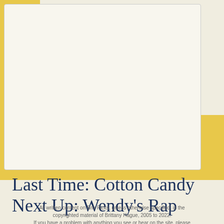[Figure (illustration): Decorative yellow border frame with thick left and bottom yellow bars, white inner card area with light border, on a cream/off-white background]
Last Time: Cotton Candy
Next Up: Wendy's Rap
All written content on Brix Picks, unless otherwise specified, is the copyrighted material of Brittany Hague, 2005 to 2022. If you have a problem with anything you see or hear on the site, please contact me at brixpicks at gmail dot com.